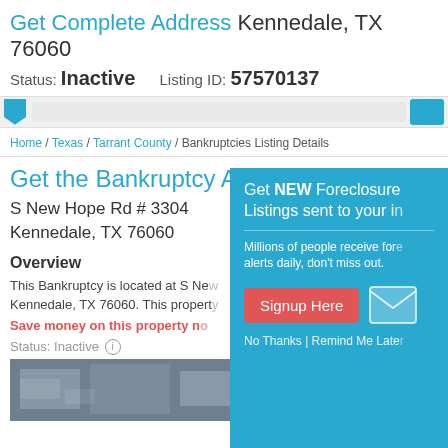Get Complete Address Kennedale, TX 76060
Status: Inactive   Listing ID: 57570137
Home / Texas / Tarrant County / Bankruptcies Listing Details
Get the Bankruptcy Address
S New Hope Rd # 3304
Kennedale, TX 76060
Overview
This Bankruptcy is located at S Ne... Kennedale, TX 76060. This propert...
Save money on this property n...
Status: Inactive
[Figure (photo): Aerial or street view photo of property]
[Figure (screenshot): Popup overlay: Get NEW Foreclosure Listings sent to your inbox. Millions of people receive foreclosure alerts daily, don't miss out. Signup Here button. No Thanks | Remind Me Later links.]